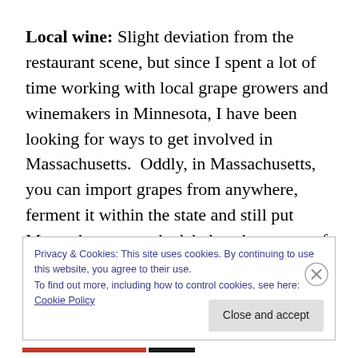Local wine: Slight deviation from the restaurant scene, but since I spent a lot of time working with local grape growers and winemakers in Minnesota, I have been looking for ways to get involved in Massachusetts.  Oddly, in Massachusetts, you can import grapes from anywhere, ferment it within the state and still put Massachusetts on the label as the source of origin of the wine.  In Minnesota, laws dictate that 85% of the finished product must be from
Privacy & Cookies: This site uses cookies. By continuing to use this website, you agree to their use.
To find out more, including how to control cookies, see here: Cookie Policy